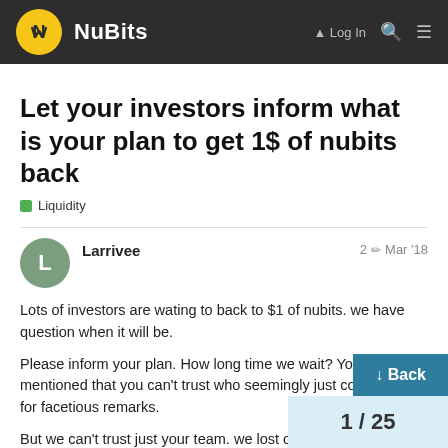NuBits
Let your investors inform what is your plan to get 1$ of nubits back
Liquidity
Larrivee  2 ✏ Mar '18
Lots of investors are wating to back to $1 of nubits. we have question when it will be.
Please inform your plan. How long time we wait? You mentioned that you can't trust who seemingly just come around for facetious remarks.
But we can't trust just your team. we lost our m chances. we have right what happend and
Exactly we want when Nubits will be back
↓ Back
1 / 25